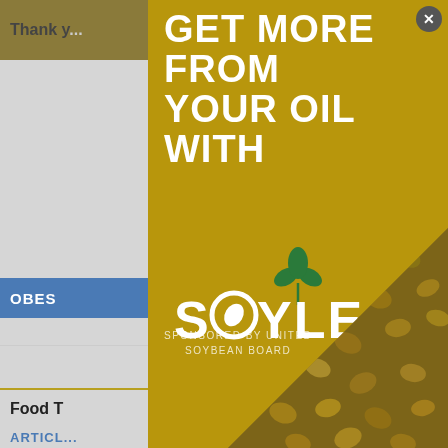[Figure (screenshot): Background webpage showing partial text 'Thank y...' and '...ools you' in top bar, 'OBES' blue tab, 'Food T' bold heading, 'ARTICL...' in blue, and partial article text 'Moi...' and 'Gha...' on left side. Back-to-top button in bottom right.]
[Figure (logo): Soyleic oil product advertisement popup modal. Gold/yellow background with bold white text 'GET MORE FROM YOUR OIL WITH', Soyleic logo with green plant icon, diagonal soybean texture image in bottom right, 'SPONSORED BY UNITED SOYBEAN BOARD' text, and close button (X) in top right corner.]